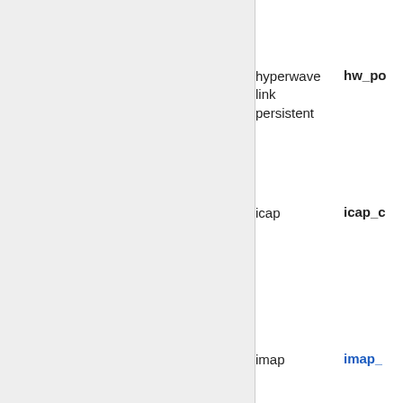hyperwave link persistent
hw_po
icap
icap_c
imap
imap_